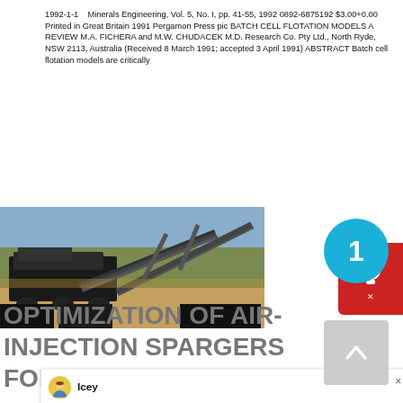1992-1-1    Minerals Engineering, Vol. 5, No. I, pp. 41-55, 1992 0892-6875192 $3.00+0.00 Printed in Great Britain 1991 Pergamon Press pic BATCH CELL FLOTATION MODELS A REVIEW M.A. FICHERA and M.W. CHUDACEK M.D. Research Co. Pty Ltd., North Ryde, NSW 2113, Australia (Received 8 March 1991; accepted 3 April 1991) ABSTRACT Batch cell flotation models are critically
[Figure (screenshot): Chat widget overlay from Liming Heavy Industry showing avatar named 'Icey' and welcome message: 'Welcome to Liming Heavy Industry! Now our on-line service is chatting with you! Please choose the language :']
[Figure (photo): Outdoor photograph of heavy mining/crushing equipment and conveyor belts on a construction or mining site with dirt ground and trees in the background.]
OPTIMIZATION OF AIR-INJECTION SPARGERS FOR